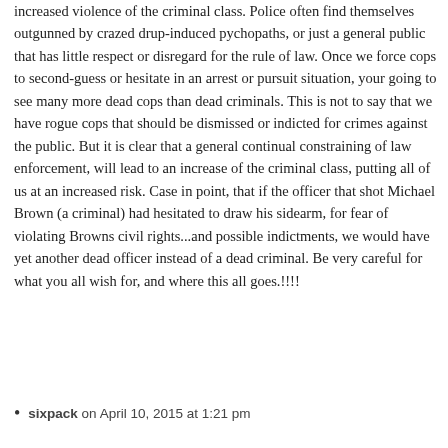increased violence of the criminal class. Police often find themselves outgunned by crazed drup-induced pychopaths, or just a general public that has little respect or disregard for the rule of law. Once we force cops to second-guess or hesitate in an arrest or pursuit situation, your going to see many more dead cops than dead criminals. This is not to say that we have rogue cops that should be dismissed or indicted for crimes against the public. But it is clear that a general continual constraining of law enforcement, will lead to an increase of the criminal class, putting all of us at an increased risk. Case in point, that if the officer that shot Michael Brown (a criminal) had hesitated to draw his sidearm, for fear of violating Browns civil rights...and possible indictments, we would have yet another dead officer instead of a dead criminal. Be very careful for what you all wish for, and where this all goes.!!!!
sixpack on April 10, 2015 at 1:21 pm